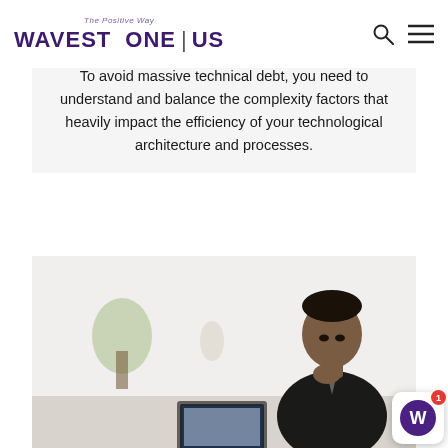The Positive Way | WAVESTONE | US
To avoid massive technical debt, you need to understand and balance the complexity factors that heavily impact the efficiency of your technological architecture and processes.
[Figure (photo): A Black man in a dark suit sitting at a desk, resting his chin on his hand, looking thoughtfully at a laptop screen in a bright modern office environment.]